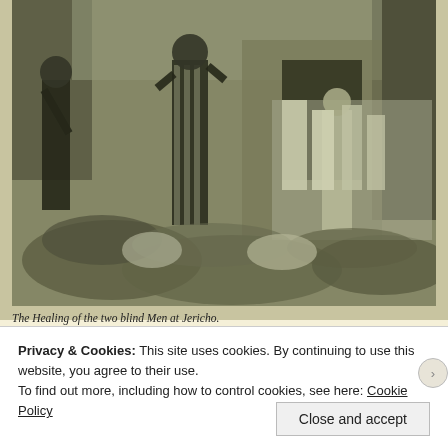[Figure (illustration): A black and white engraving/print depicting a Biblical scene: The Healing of the two blind Men at Jericho. Several robed figures stand in the foreground on rocky ground, with a crowd of people in white robes gathered in the background near a stone building.]
The Healing of the two blind Men at Jericho.
Privacy & Cookies: This site uses cookies. By continuing to use this website, you agree to their use.
To find out more, including how to control cookies, see here: Cookie Policy